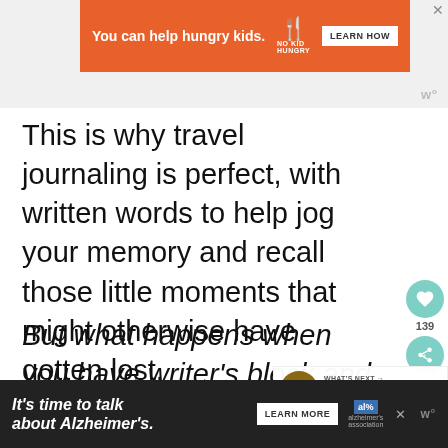[Figure (screenshot): Orange advertisement banner: 'You can help hungry kids.' with No Kid Hungry logo and 'LEARN HOW' button. Close button top right.]
This is why travel journaling is perfect, with written words to help jog your memory and recall those little moments that might otherwise have gotten lost.
But what happens when you have writer's block and don't know where to start? Those fresh journal pages can be overwhelming if journaling is a new habit fo
[Figure (screenshot): Bottom advertisement: 'It's time to talk about Alzheimer's.' with Learn More button and Alzheimer's Association logo.]